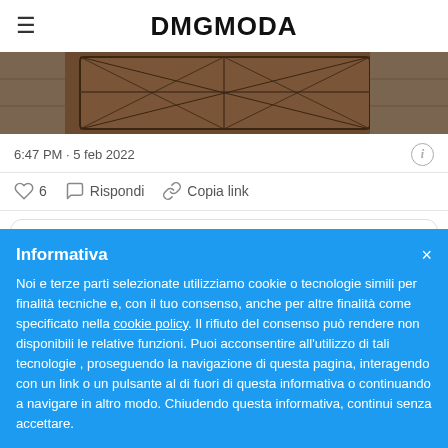DMGMODA
[Figure (screenshot): Cropped Twitter/website screenshot showing a decorative grille or window at top, tweet timestamp '6:47 PM · 5 feb 2022', interaction icons (heart with count 6, reply, copy link), and an 'Esplora che c'è di nuovo su Twitter' button]
Informativa

Noi e terze parti selezionate utilizziamo cookie o tecnologie simili per finalità tecniche e, con il tuo consenso, anche per altre finalità come specificato nella cookie policy. Il rifiuto del consenso può rendere non disponibili le relative funzioni. Puoi acconsentire all'utilizzo di tali tecnologie , proseguendo la navigazione di questa pagina, interagendo con un link o un pulsante al di fuori di questa informativa o continuando a navigare in altro modo. Chiudendo questa informativa, continui senza accettare.